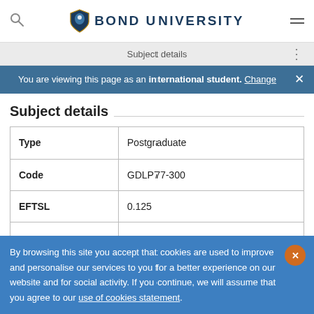BOND UNIVERSITY
Subject details
You are viewing this page as an international student. Change
Subject details
|  |  |
| --- | --- |
| Type | Postgraduate |
| Code | GDLP77-300 |
| EFTSL | 0.125 |
By browsing this site you accept that cookies are used to improve and personalise our services to you for a better experience on our website and for social activity. If you continue, we will assume that you agree to our use of cookies statement.